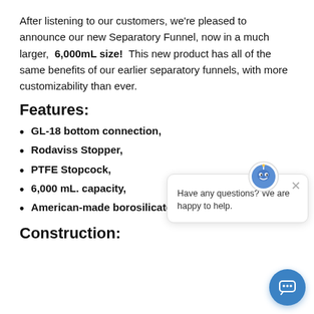After listening to our customers, we’re pleased to announce our new Separatory Funnel, now in a much larger,  6,000mL size!  This new product has all of the same benefits of our earlier separatory funnels, with more customizability than ever.
Features:
GL-18 bottom connection,
Rodaviss Stopper,
PTFE Stopcock,
6,000 mL. capacity,
American-made borosilicate glass.
Construction:
[Figure (other): Chat widget popup with icon showing a robot/assistant avatar, close button (x), and text 'Have any questions? We are happy to help.' Also a blue circular chat FAB button in the bottom right corner.]